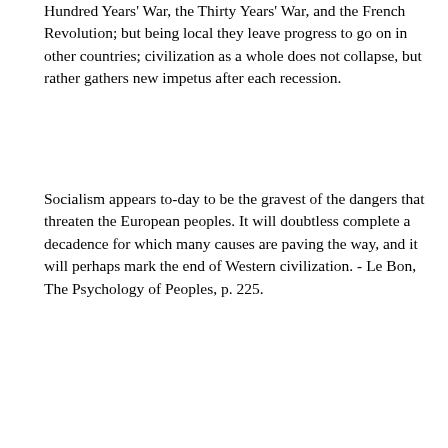Hundred Years' War, the Thirty Years' War, and the French Revolution; but being local they leave progress to go on in other countries; civilization as a whole does not collapse, but rather gathers new impetus after each recession.
Socialism appears to-day to be the gravest of the dangers that threaten the European peoples. It will doubtless complete a decadence for which many causes are paving the way, and it will perhaps mark the end of Western civilization. - Le Bon, The Psychology of Peoples, p. 225.